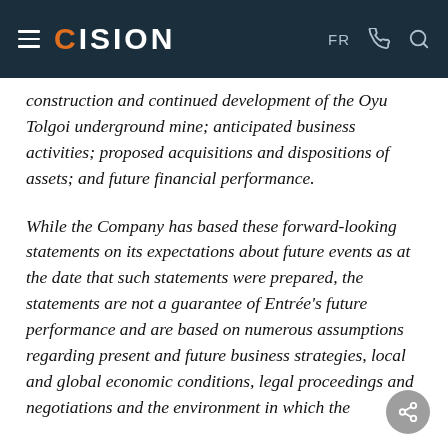CISION | FR
construction and continued development of the Oyu Tolgoi underground mine; anticipated business activities; proposed acquisitions and dispositions of assets; and future financial performance.
While the Company has based these forward-looking statements on its expectations about future events as at the date that such statements were prepared, the statements are not a guarantee of Entrée's future performance and are based on numerous assumptions regarding present and future business strategies, local and global economic conditions, legal proceedings and negotiations and the environment in which the